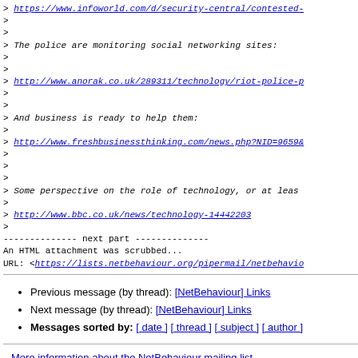> https://www.infoworld.com/d/security-central/contested-
>
>
> The police are monitoring social networking sites:
>
>
> http://www.anorak.co.uk/289311/technology/riot-police-p
>
>
> And business is ready to help them:
>
> http://www.freshbusinessthinking.com/news.php?NID=9659&
>
>
>
> Some perspective on the role of technology, or at leas
>
> http://www.bbc.co.uk/news/technology-14442203
>
-------------- next part --------------
An HTML attachment was scrubbed...
URL: <https://lists.netbehaviour.org/pipermail/netbehavio
Previous message (by thread): [NetBehaviour] Links
Next message (by thread): [NetBehaviour] Links
Messages sorted by: [ date ] [ thread ] [ subject ] [ author ]
More information about the NetBehaviour mailing list